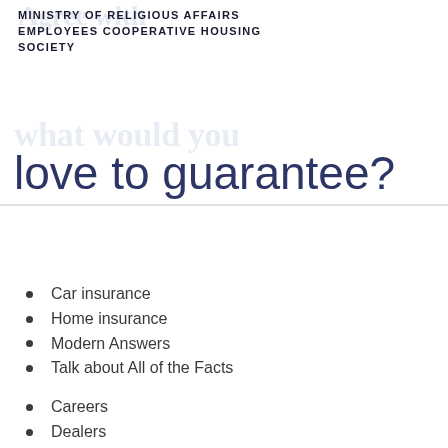MINISTRY OF RELIGIOUS AFFAIRS EMPLOYEES COOPERATIVE HOUSING SOCIETY
love to guarantee?
Car insurance
Home insurance
Modern Answers
Talk about All of the Facts
Careers
Dealers
Newsroom
Continue Early in the day Price
Declaration a declare